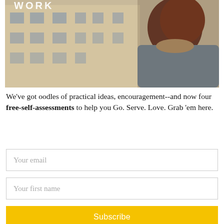[Figure (photo): A person wearing a grey coat and fur collar with red/auburn hair, standing in front of a Parisian-style building facade. The word 'WORK' is visible in white text at the top left of the image.]
We've got oodles of practical ideas, encouragement--and now four free-self-assessments to help you Go. Serve. Love. Grab 'em here.
Your email
Your first name
Subscribe
And don't worry, we loathe spam too. You can totally